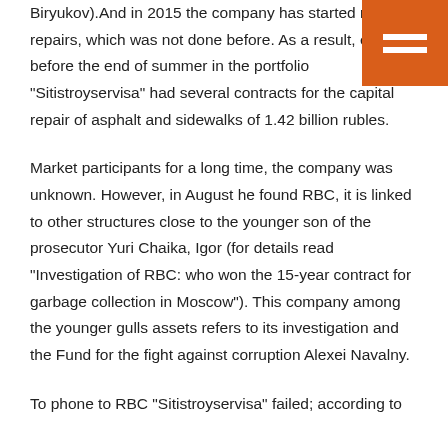Biryukov).And in 2015 the company has started road repairs, which was not done before. As a result, even before the end of summer in the portfolio "Sitistroyservisa" had several contracts for the capital repair of asphalt and sidewalks of 1.42 billion rubles.
[Figure (other): Orange/brown square menu icon with two white horizontal bars in upper right corner]
Market participants for a long time, the company was unknown. However, in August he found RBC, it is linked to other structures close to the younger son of the prosecutor Yuri Chaika, Igor (for details read "Investigation of RBC: who won the 15-year contract for garbage collection in Moscow"). This company among the younger gulls assets refers to its investigation and the Fund for the fight against corruption Alexei Navalny.
To phone to RBC "Sitistroyservisa" failed; according to